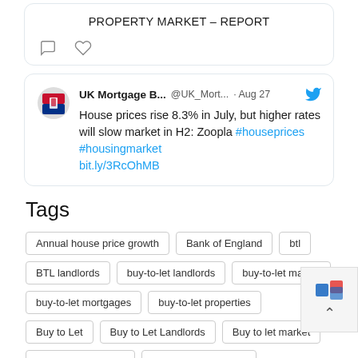[Figure (screenshot): Top of a tweet card showing 'PROPERTY MARKET – REPORT' text with comment and like icons below]
[Figure (screenshot): Tweet from UK Mortgage B... (@UK_Mort...) dated Aug 27 with Twitter bird icon. Text: House prices rise 8.3% in July, but higher rates will slow market in H2: Zoopla #houseprices #housingmarket bit.ly/3RcOhMB]
Tags
Annual house price growth
Bank of England
btl
BTL landlords
buy-to-let landlords
buy-to-let market
buy-to-let mortgages
buy-to-let properties
Buy to Let
Buy to Let Landlords
Buy to let market
buy to let mortgage
buy to let mortgages
coronavirus
coronavirus lockdown
Covid-19
first-time buyer